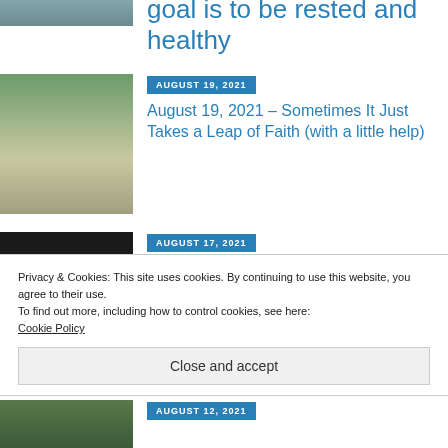[Figure (photo): Partial photo at top, cropped – appears to show water/boat scene]
goal is to be rested and healthy
[Figure (photo): Person leaping between rocks on rocky riverbed with green trees in background]
AUGUST 19, 2021
August 19, 2021 – Sometimes It Just Takes a Leap of Faith (with a little help)
[Figure (photo): Dark image with green foliage visible, partially obscured]
AUGUST 17, 2021
August 17, 2021 – My Nearest Dearest Helped...
Privacy & Cookies: This site uses cookies. By continuing to use this website, you agree to their use.
To find out more, including how to control cookies, see here: Cookie Policy
Close and accept
[Figure (photo): Partial green outdoor photo at bottom]
AUGUST 12, 2021